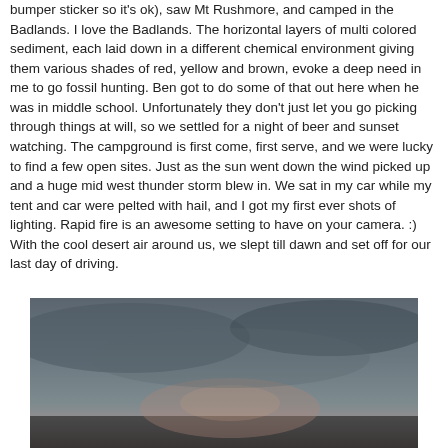bumper sticker so it's ok), saw Mt Rushmore, and camped in the Badlands. I love the Badlands. The horizontal layers of multi colored sediment, each laid down in a different chemical environment giving them various shades of red, yellow and brown, evoke a deep need in me to go fossil hunting. Ben got to do some of that out here when he was in middle school. Unfortunately they don't just let you go picking through things at will, so we settled for a night of beer and sunset watching. The campground is first come, first serve, and we were lucky to find a few open sites. Just as the sun went down the wind picked up and a huge mid west thunder storm blew in. We sat in my car while my tent and car were pelted with hail, and I got my first ever shots of lighting. Rapid fire is an awesome setting to have on your camera. :) With the cool desert air around us, we slept till dawn and set off for our last day of driving.
[Figure (photo): A photograph of a dark, moody sky over a landscape, possibly the Badlands, with dark grey-blue tones at the top transitioning to slightly warmer hues near the horizon.]